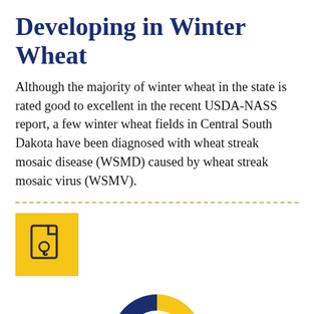Developing in Winter Wheat
Although the majority of winter wheat in the state is rated good to excellent in the recent USDA-NASS report, a few winter wheat fields in Central South Dakota have been diagnosed with wheat streak mosaic disease (WSMD) caused by wheat streak mosaic virus (WSMV).
[Figure (other): Yellow square icon containing a PDF/document icon with a key/lock symbol]
[Figure (donut-chart): A donut chart with a large yellow segment (approximately 75%) and a smaller dark blue segment (approximately 25%), no labels visible]